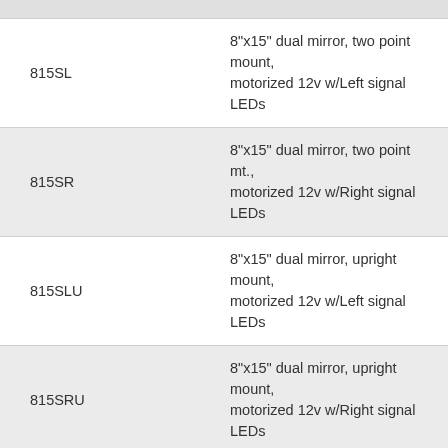| Code | Description |
| --- | --- |
| 815SL | 8"x15" dual mirror, two point mount, motorized 12v w/Left signal LEDs |
| 815SR | 8"x15" dual mirror, two point mt., motorized 12v w/Right signal LEDs |
| 815SLU | 8"x15" dual mirror, upright mount, motorized 12v w/Left signal LEDs |
| 815SRU | 8"x15" dual mirror, upright mount, motorized 12v w/Right signal LEDs |
| 815SLOG | 8"x15" dual mirror, overhang mount, motorized 12v w/Left signal LEDs |
| 815SROG | 8"x15" dual mirror, overhang mount, motorized 12v w/Right signal LEDs |
| 815/1 | 7" x 9.5" flat mirror glass. |
| 815S/1 | 7" x 9.5" convex mirror glass (partial) |